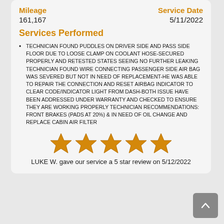Mileage
161,167
Service Date
5/11/2022
Services Performed
TECHNICIAN FOUND PUDDLES ON DRIVER SIDE AND PASS SIDE FLOOR DUE TO LOOSE CLAMP ON COOLANT HOSE-SECURED PROPERLY AND RETESTED STATES SEEING NO FURTHER LEAKING TECHNICIAN FOUND WIRE CONNECTING PASSENGER SIDE AIR BAG WAS SEVERED BUT NOT IN NEED OF REPLACEMENT-HE WAS ABLE TO REPAIR THE CONNECTION AND RESET AIRBAG INDICATOR TO CLEAR CODE/INDICATOR LIGHT FROM DASH-BOTH ISSUE HAVE BEEN ADDRESSED UNDER WARRANTY AND CHECKED TO ENSURE THEY ARE WORKING PROPERLY TECHNICIAN RECOMMENDATIONS: FRONT BRAKES (PADS AT 20%) & IN NEED OF OIL CHANGE AND REPLACE CABIN AIR FILTER
[Figure (other): Five gold star rating icons]
LUKE W. gave our service a 5 star review on 5/12/2022